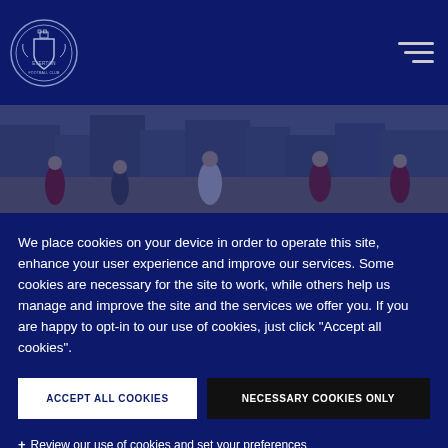[Figure (logo): Everton FC crest logo in white on dark navy circle]
[Figure (photo): People ice skating in a town square with buildings in the background, dimly lit with a dark blue overlay]
We place cookies on your device in order to operate this site, enhance your user experience and improve our services. Some cookies are necessary for the site to work, while others help us manage and improve the site and the services we offer you. If you are happy to opt-in to our use of cookies, just click "Accept all cookies".
ACCEPT ALL COOKIES
NECESSARY COOKIES ONLY
+ Review our use of cookies and set your preferences